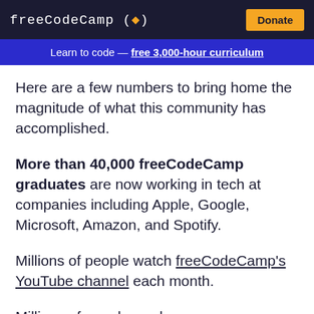freeCodeCamp (🔥)  Donate
Learn to code — free 3,000-hour curriculum
Here are a few numbers to bring home the magnitude of what this community has accomplished.
More than 40,000 freeCodeCamp graduates are now working in tech at companies including Apple, Google, Microsoft, Amazon, and Spotify.
Millions of people watch freeCodeCamp's YouTube channel each month.
Millions of people read freecodecamp.org/news